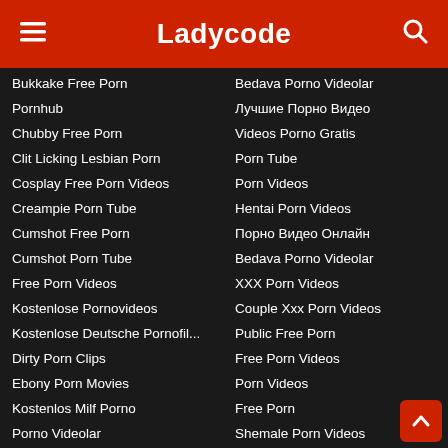Ladycode
Bukkake Free Porn
Pornhub
Chubby Free Porn
Clit Licking Lesbian Porn
Cosplay Free Porn Videos
Creampie Porn Tube
Cumshot Free Porn
Cumshot Porn Tube
Free Porn Videos
Kostenlose Pornovideos
Kostenlose Deutsche Pornofil...
Dirty Porn Clips
Ebony Porn Movies
Kostenlos Milf Porno
Porno Videolar
Hentai Porn Videos
Çevrimiçi Bedava Porno Video...
Fetish Free Porn
Film X Porno
🔞 Footjob Porn Tube
Bedava Porno Videolar
Лучшие Порно Видео
Videos Porno Gratis
Porn Tube
Porn Videos
Hentai Porn Videos
Порно Видео Онлайн
Bedava Porno Videolar
XXX Porn Videos
Couple Xxx Porn Videos
Public Free Porn
Free Porn Videos
Porn Videos
Free Porn
Shemale Porn Videos
Porn Videos
Swingers Free Porn
Best Free Porn Videos
Xxx Porn Videos
Xvideos